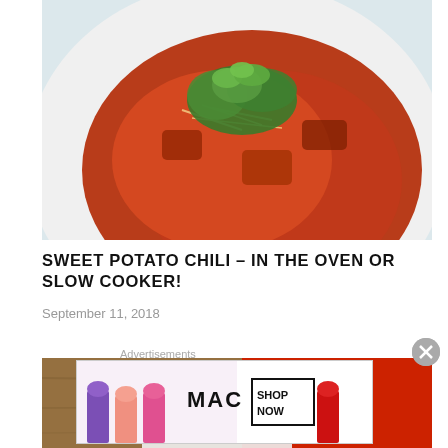[Figure (photo): Overhead photo of a white bowl containing sweet potato chili topped with shredded cheese and fresh cilantro in a red tomato-based broth]
SWEET POTATO CHILI – IN THE OVEN OR SLOW COOKER!
September 11, 2018
[Figure (photo): Photo of a red and white jersey or sign with the number 15, on a wooden surface with a white card]
Advertisements
[Figure (photo): MAC cosmetics advertisement banner showing colorful lipsticks and text SHOP NOW]